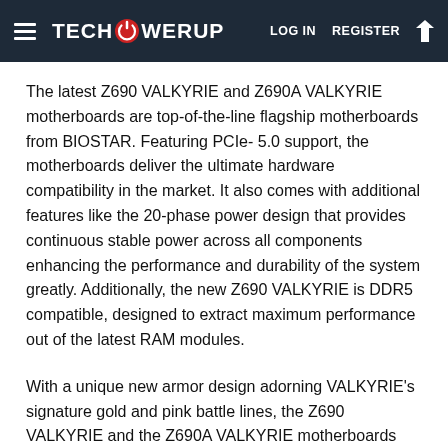TECHPOWERUP — LOG IN  REGISTER
The latest Z690 VALKYRIE and Z690A VALKYRIE motherboards are top-of-the-line flagship motherboards from BIOSTAR. Featuring PCIe- 5.0 support, the motherboards deliver the ultimate hardware compatibility in the market. It also comes with additional features like the 20-phase power design that provides continuous stable power across all components enhancing the performance and durability of the system greatly. Additionally, the new Z690 VALKYRIE is DDR5 compatible, designed to extract maximum performance out of the latest RAM modules.
With a unique new armor design adorning VALKYRIE's signature gold and pink battle lines, the Z690 VALKYRIE and the Z690A VALKYRIE motherboards are far superior to the rest of their competition. The new heat dissipation system built into